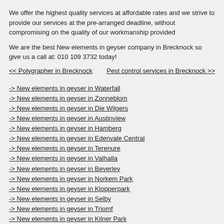We offer the highest quality services at affordable rates and we strive to provide our services at the pre-arranged deadline, without compromising on the quality of our workmanship provided
We are the best New elements in geyser company in Brecknock so give us a call at: 010 109 3732 today!
<< Polygrapher in Brecknock    Pest control services in Brecknock >>
-> New elements in geyser in Waterfall
-> New elements in geyser in Zonneblom
-> New elements in geyser in Die Wilgers
-> New elements in geyser in Austinview
-> New elements in geyser in Hamberg
-> New elements in geyser in Edenvale Central
-> New elements in geyser in Terenure
-> New elements in geyser in Valhalla
-> New elements in geyser in Beverley
-> New elements in geyser in Norkem Park
-> New elements in geyser in Klopperpark
-> New elements in geyser in Selby
-> New elements in geyser in Triomf
-> New elements in geyser in Kilner Park
-> New elements in geyser in Roseville
-> New elements in geyser in Greenwich Village
-> New elements in geyser in Port En Dal